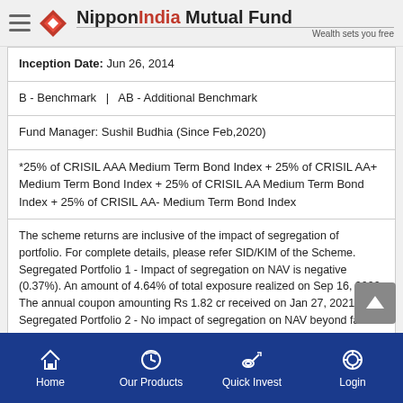Nippon India Mutual Fund – Wealth sets you free
Inception Date: Jun 26, 2014
B - Benchmark   |   AB - Additional Benchmark
Fund Manager: Sushil Budhia (Since Feb,2020)
*25% of CRISIL AAA Medium Term Bond Index + 25% of CRISIL AA+ Medium Term Bond Index + 25% of CRISIL AA Medium Term Bond Index + 25% of CRISIL AA- Medium Term Bond Index
The scheme returns are inclusive of the impact of segregation of portfolio. For complete details, please refer SID/KIM of the Scheme. Segregated Portfolio 1 - Impact of segregation on NAV is negative (0.37%). An amount of 4.64% of total exposure realized on Sep 16, 2020. The annual coupon amounting Rs 1.82 cr received on Jan 27, 2021.
Segregated Portfolio 2 - No impact of segregation on NAV beyond fair valuation of securities done on March 5,2020.
PERFORMANCE OF OTHER OPEN ENDED SCHEMES
Home   Our Products   Quick Invest   Login